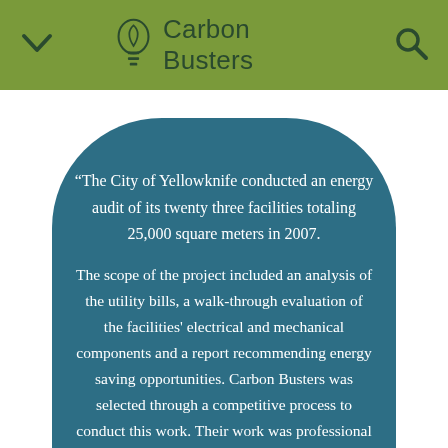Carbon Busters
“The City of Yellowknife conducted an energy audit of its twenty three facilities totaling 25,000 square meters in 2007. The scope of the project included an analysis of the utility bills, a walk-through evaluation of the facilities' electrical and mechanical components and a report recommending energy saving opportunities. Carbon Busters was selected through a competitive process to conduct this work. Their work was professional and met all